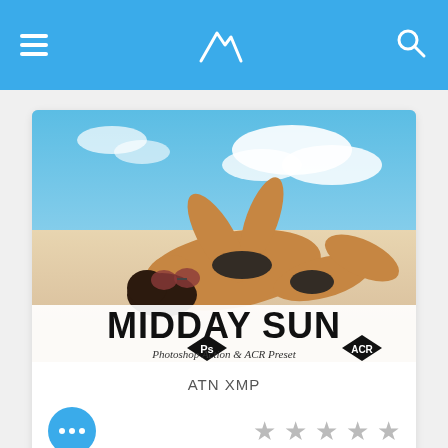Navigation bar with hamburger menu, mountain logo, and search icon
[Figure (photo): Beach photo showing a woman in a black bikini lying on white sand with blue sky and clouds. Text overlay reads MIDDAY SUN, Photoshop Action & ACR Preset, with Ps and ACR badge icons.]
ATN XMP
★ ★ ★ ★ ★